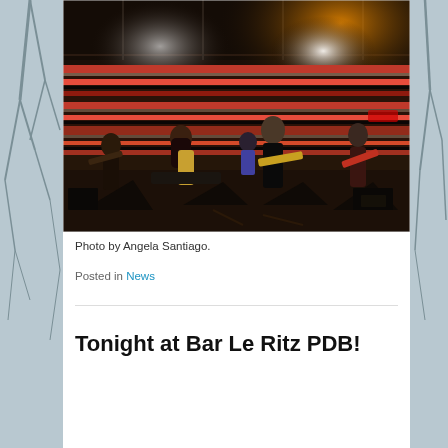[Figure (photo): Band performing on stage at a venue with colorful striped wall backdrop and stage lighting. Multiple musicians including guitarists, keyboardist, and drummer visible.]
Photo by Angela Santiago.
Posted in News
Tonight at Bar Le Ritz PDB!